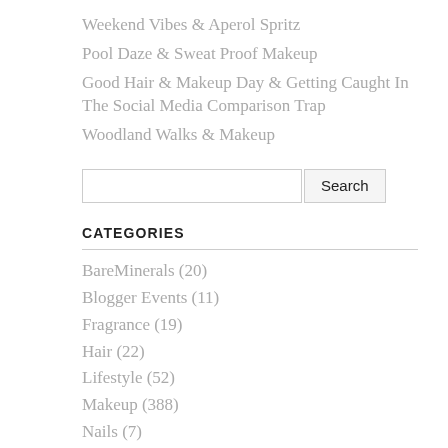Weekend Vibes & Aperol Spritz
Pool Daze & Sweat Proof Makeup
Good Hair & Makeup Day & Getting Caught In The Social Media Comparison Trap
Woodland Walks & Makeup
CATEGORIES
BareMinerals (20)
Blogger Events (11)
Fragrance (19)
Hair (22)
Lifestyle (52)
Makeup (388)
Nails (7)